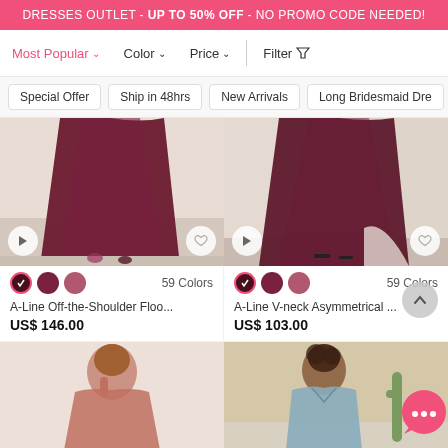DRESSES OUTLET - UP TO 50% OFF - NO PROMO CODE NEEDED!
Most Popular  Color  Price  Filter
Special Offer
Ship in 48hrs
New Arrivals
Long Bridesmaid Dre
[Figure (photo): Maroon/burgundy A-line floor-length bridesmaid dress, lower half visible]
A-Line Off-the-Shoulder Floo...
US$ 146.00
[Figure (photo): Maroon/burgundy A-line V-neck asymmetrical bridesmaid dress, lower half visible]
A-Line V-neck Asymmetrical ...
US$ 103.00
[Figure (photo): Model in dusty rose one-shoulder short bridesmaid dress]
[Figure (photo): Model in light blue halter V-neck bridesmaid dress with cactus background]